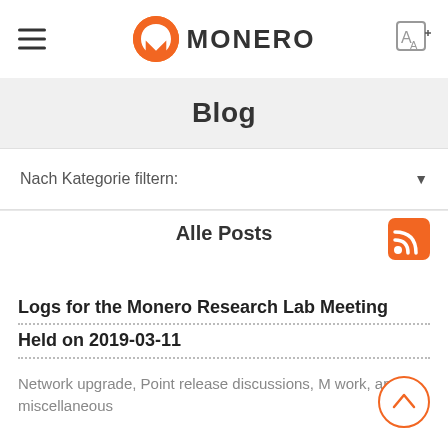MONERO
Blog
Nach Kategorie filtern:
Alle Posts
Logs for the Monero Research Lab Meeting Held on 2019-03-11
Network upgrade, Point release discussions, M work, and miscellaneous